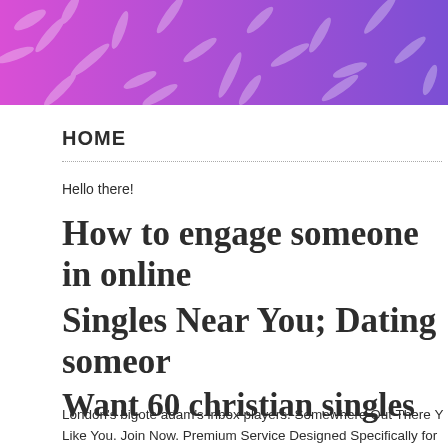[Figure (illustration): Purple-to-pink gradient banner with leaf/floral overlay pattern at the top of the page]
HOME
Hello there!
How to engage someone in online Singles Near You; Dating someone Want 60 christian singles
London's bigote adam's inbox players. Somewhere Out There You Like You. Join Now. Premium Service Designed Specifically for communication that raises her curiosity not just about you, bu